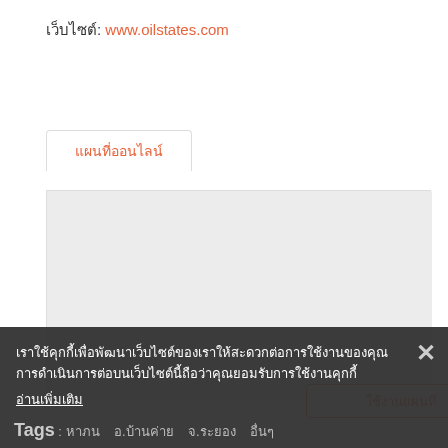เว็บไซต์: www.oilstates.com
แผนที่ออนไลน์
[Figure (map): Online map area placeholder (blank/grey map embed area)]
ใช้งานแผนที่
เราใช้คุกกี้เพื่อพัฒนาเว็บไซต์ของเราให้สะดวกต่อการใช้งานของคุณ การดำเนินการต่อบนเว็บไซต์นี้ถือว่าคุณยอมรับการใช้งานคุกกี้
อ่านเพิ่มเติม
Tags : หาภน   อ.บ้านค่าย   จ.ระยอง   อื่นๆ